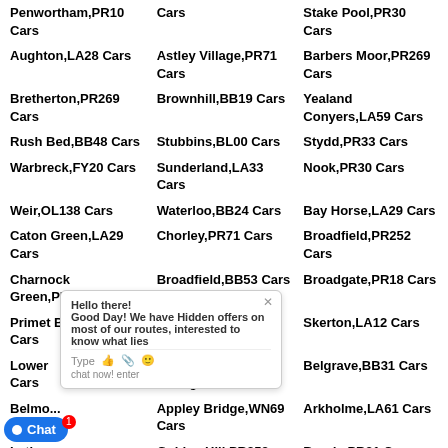Penwortham,PR10 Cars
Cars
Stake Pool,PR30 Cars
Aughton,LA28 Cars
Astley Village,PR71 Cars
Barbers Moor,PR269 Cars
Bretherton,PR269 Cars
Brownhill,BB19 Cars
Yealand Conyers,LA59 Cars
Rush Bed,BB48 Cars
Stubbins,BL00 Cars
Stydd,PR33 Cars
Warbreck,FY20 Cars
Sunderland,LA33 Cars
Nook,PR30 Cars
Weir,OL138 Cars
Waterloo,BB24 Cars
Bay Horse,LA29 Cars
Caton Green,LA29 Cars
Chorley,PR71 Cars
Broadfield,PR252 Cars
Charnock Green,PR75 Cars
Broadfield,BB53 Cars
Broadgate,PR18 Cars
Primet Bridge,BB88 Cars
Cherry Tree,BB25 Cars
Skerton,LA12 Cars
Lower Cars
Higher Change,OL139 Cars
Belgrave,BB31 Cars
Belmo...
Appley Bridge,WN69 Cars
Arkholme,LA61 Cars
Latho...
Golden Hill,PR252 Cars
Bonds,PR31 Cars
Deepdale,PR16 Cars
Ingol,PR23 Cars
Cleveleys,FY51 Cars
D...nd
Drummersdale,L409 Cars
Duncombe,PR30 Cars